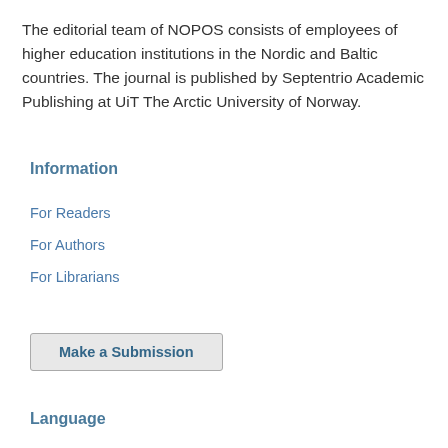The editorial team of NOPOS consists of employees of higher education institutions in the Nordic and Baltic countries. The journal is published by Septentrio Academic Publishing at UiT The Arctic University of Norway.
Information
For Readers
For Authors
For Librarians
Make a Submission
Language